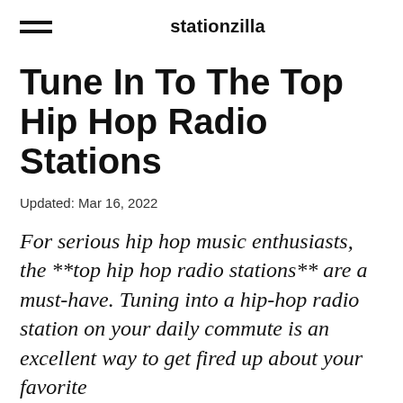stationzilla
Tune In To The Top Hip Hop Radio Stations
Updated: Mar 16, 2022
For serious hip hop music enthusiasts, the **top hip hop radio stations** are a must-have. Tuning into a hip-hop radio station on your daily commute is an excellent way to get fired up about your favorite